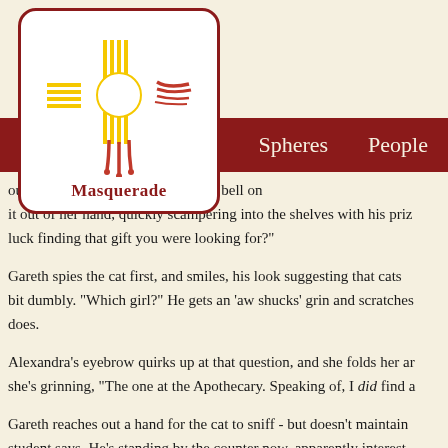[Figure (logo): Zia sun symbol logo with yellow and red rays, white circle center, dripping red lines at bottom, inside white rounded rectangle with dark red border]
Masquerade
Spheres   People
ounter looks up at the dingle of the bell on it out of her hand, quickly scampering into the shelves with his prize luck finding that gift you were looking for?"
Gareth spies the cat first, and smiles, his look suggesting that cats bit dumbly. "Which girl?" He gets an 'aw shucks' grin and scratches does.
Alexandra's eyebrow quirks up at that question, and she folds her ar she's grinning, "The one at the Apothecary. Speaking of, I did find a
Gareth reaches out a hand for the cat to sniff - but doesn't maintain student says. He's standing by the counter now, apparently interest demeanor, if his player's memory serves him. He's facing Alexandra,